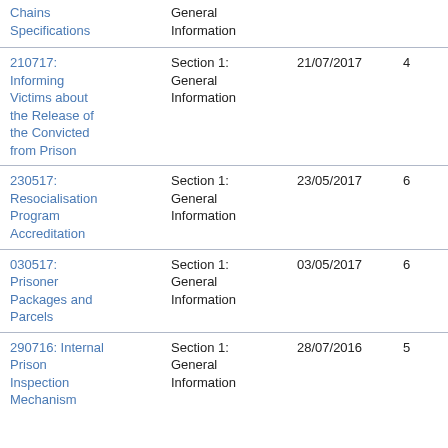| Name | Section | Date | Col4 | Col5 |
| --- | --- | --- | --- | --- |
| Chains Specifications | General Information |  |  |  |
| 210717: Informing Victims about the Release of the Convicted from Prison | Section 1: General Information | 21/07/2017 | 4 | 7 |
| 230517: Resocialisation Program Accreditation | Section 1: General Information | 23/05/2017 | 6 | 7 |
| 030517: Prisoner Packages and Parcels | Section 1: General Information | 03/05/2017 | 6 | 10 |
| 290716: Internal Prison Inspection Mechanism | Section 1: General Information | 28/07/2016 | 5 | 12 |